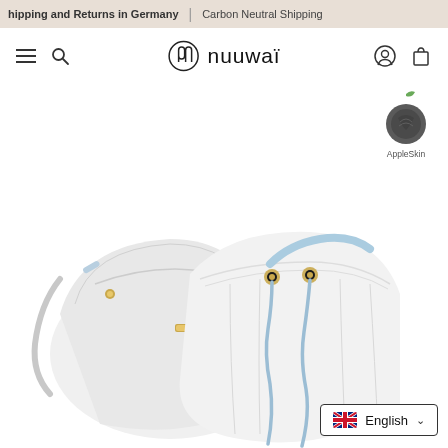hipping and Returns in Germany | Carbon Neutral Shipping
[Figure (logo): nuuwaï brand logo with circular monogram icon]
[Figure (logo): AppleSkin material badge icon with apple and leather texture symbol, labeled AppleSkin]
[Figure (photo): White drawstring bucket bags with gold hardware and light blue drawstring cords, on white background]
English